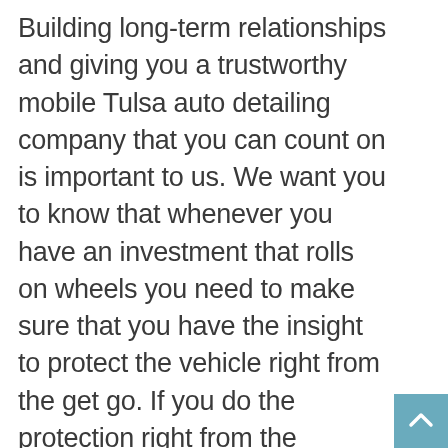Building long-term relationships and giving you a trustworthy mobile Tulsa auto detailing company that you can count on is important to us. We want you to know that whenever you have an investment that rolls on wheels you need to make sure that you have the insight to protect the vehicle right from the get go. If you do the protection right from the beginning then you will certainly have the vehicle longer than what you expected. Drastically changing the outlook of the vehicle and the look of that has on the outside is definitely going to be something we can do as well. We are proud of the quality work that we do on every auto.